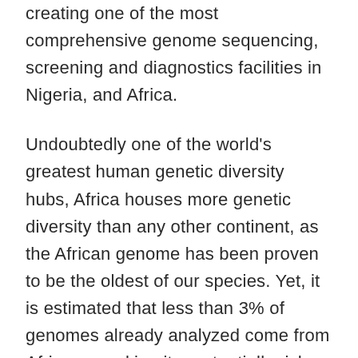creating one of the most comprehensive genome sequencing, screening and diagnostics facilities in Nigeria, and Africa.
Undoubtedly one of the world's greatest human genetic diversity hubs, Africa houses more genetic diversity than any other continent, as the African genome has been proven to be the oldest of our species. Yet, it is estimated that less than 3% of genomes already analyzed come from Africans, making it a potentially rich source of new genetic information for health and drug discovery research which we intend to leverage as a global research resource, while ensuring Africans benefit from advanced medical innovations.
We believe the addition of Illumina's cutting-edge